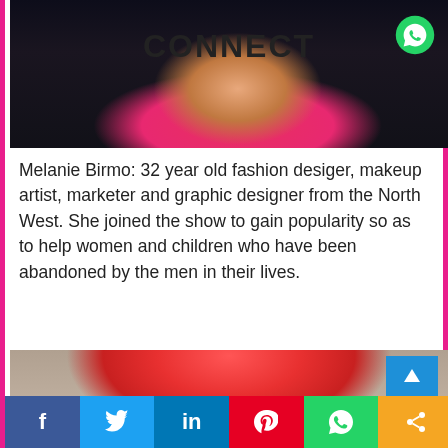[Figure (photo): Young woman in red/pink outfit holding sunglasses, dark background, with CONNECT text overlay and WhatsApp icon]
Melanie Birmo: 32 year old fashion desiger, makeup artist, marketer and graphic designer from the North West. She joined the show to gain popularity so as to help women and children who have been abandoned by the men in their lives.
[Figure (photo): Woman with bright red/pink hair viewed from above against a grey background]
f  t  in  P  WhatsApp  share